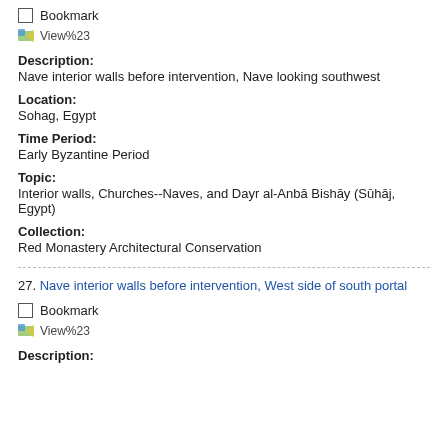Bookmark
[Figure (screenshot): View%23 icon link]
Description:
Nave interior walls before intervention, Nave looking southwest
Location:
Sohag, Egypt
Time Period:
Early Byzantine Period
Topic:
Interior walls, Churches--Naves, and Dayr al-Anbā Bishāy (Sūhāj, Egypt)
Collection:
Red Monastery Architectural Conservation
27. Nave interior walls before intervention, West side of south portal
Bookmark
[Figure (screenshot): View%23 icon link]
Description: